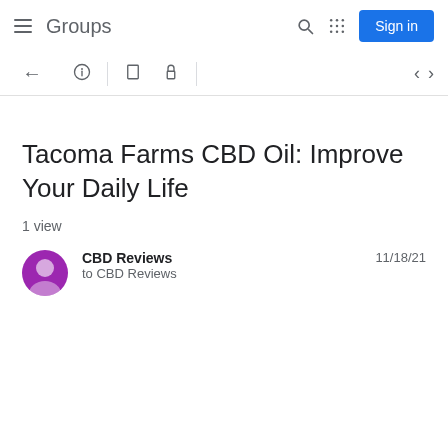Groups
[Figure (screenshot): Google Groups toolbar with back arrow, report, delete, lock icons, and navigation arrows]
Tacoma Farms CBD Oil: Improve Your Daily Life
1 view
CBD Reviews
to CBD Reviews
11/18/21